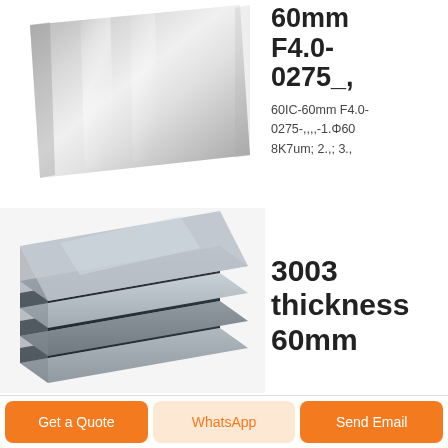[Figure (photo): Polished aluminum or stainless steel flat sheet with reflective surface, silver/gray tones]
60mm F4.0-0275_,
60IC-60mm F4.0-0275-,,,,-1.Φ60 8K7um; 2.,; 3.,
[Figure (photo): Stack of aluminum or steel sheets showing layered edges, gray metallic tones with dark bands]
3003 thickness 60mm
Get a Quote
WhatsApp
Send Email